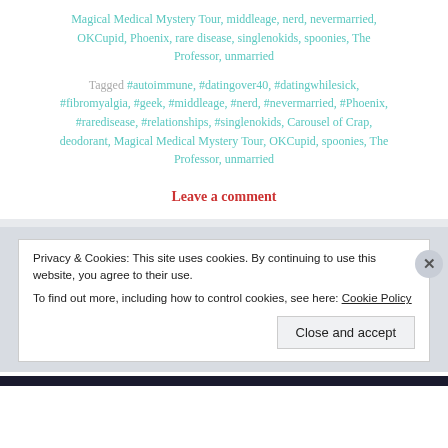Magical Medical Mystery Tour, middleage, nerd, nevermarried, OKCupid, Phoenix, rare disease, singlenokids, spoonies, The Professor, unmarried
Tagged #autoimmune, #datingover40, #datingwhilesick, #fibromyalgia, #geek, #middleage, #nerd, #nevermarried, #Phoenix, #raredisease, #relationships, #singlenokids, Carousel of Crap, deodorant, Magical Medical Mystery Tour, OKCupid, spoonies, The Professor, unmarried
Leave a comment
Privacy & Cookies: This site uses cookies. By continuing to use this website, you agree to their use.
To find out more, including how to control cookies, see here: Cookie Policy